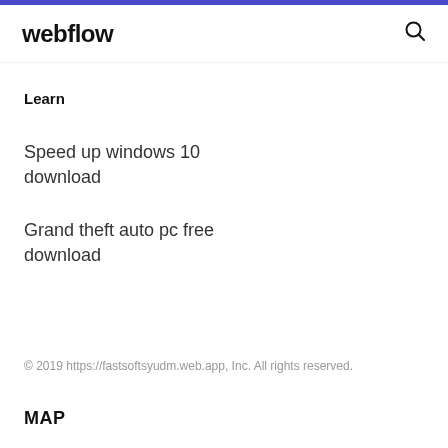webflow
Learn
Speed up windows 10 download
Grand theft auto pc free download
© 2019 https://fastsoftsyudm.web.app, Inc. All rights reserved.
MAP